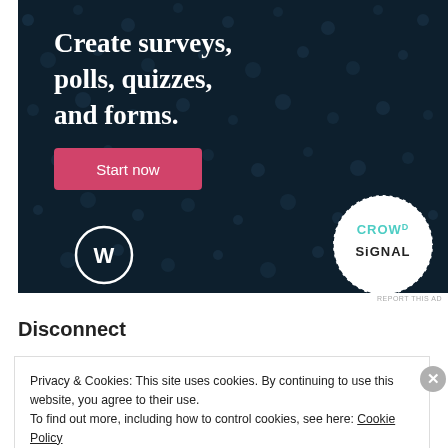[Figure (illustration): Crowd Signal advertisement banner on dark navy background with polka dot pattern. Text reads 'Create surveys, polls, quizzes, and forms.' with a pink 'Start now' button, WordPress logo bottom-left, and Crowd Signal circular logo bottom-right.]
REPORT THIS AD
Disconnect
Privacy & Cookies: This site uses cookies. By continuing to use this website, you agree to their use.
To find out more, including how to control cookies, see here: Cookie Policy
Close and accept